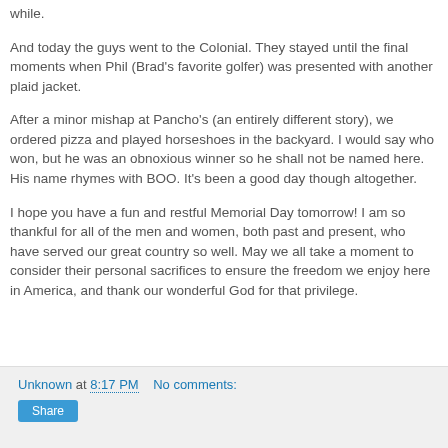while.
And today the guys went to the Colonial. They stayed until the final moments when Phil (Brad's favorite golfer) was presented with another plaid jacket.
After a minor mishap at Pancho's (an entirely different story), we ordered pizza and played horseshoes in the backyard. I would say who won, but he was an obnoxious winner so he shall not be named here. His name rhymes with BOO. It's been a good day though altogether.
I hope you have a fun and restful Memorial Day tomorrow! I am so thankful for all of the men and women, both past and present, who have served our great country so well. May we all take a moment to consider their personal sacrifices to ensure the freedom we enjoy here in America, and thank our wonderful God for that privilege.
Unknown at 8:17 PM   No comments: